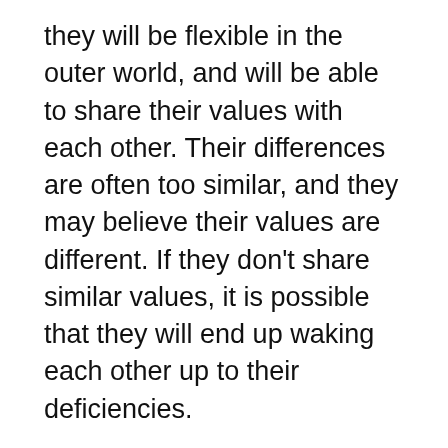they will be flexible in the outer world, and will be able to share their values with each other. Their differences are often too similar, and they may believe their values are different. If they don't share similar values, it is possible that they will end up waking each other up to their deficiencies.
Pisces is a generous and caring zodiac sign, which makes them the ideal partner for a relationship. They are romantic, and are open-minded, but they can also be easily taken advantage of. Fortunately, they aren't very sour, and are more likely to see the best in others than their flaws. If the relationship is long-term, a Pisces will be happy to settle down with someone who shares their ideals.